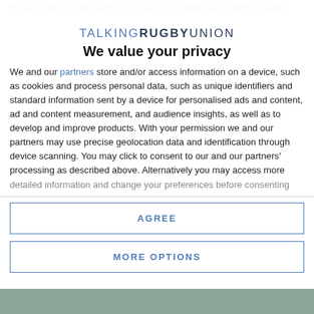similar position. Not wanting to risk any of their star players. Spain
[Figure (logo): Talking Rugby Union logo with text in mixed weights and blue tones]
We value your privacy
We and our partners store and/or access information on a device, such as cookies and process personal data, such as unique identifiers and standard information sent by a device for personalised ads and content, ad and content measurement, and audience insights, as well as to develop and improve products. With your permission we and our partners may use precise geolocation data and identification through device scanning. You may click to consent to our and our partners' processing as described above. Alternatively you may access more detailed information and change your preferences before consenting
AGREE
MORE OPTIONS